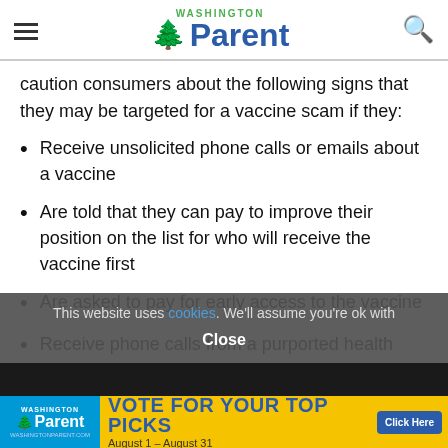Washington Parent
caution consumers about the following signs that they may be targeted for a vaccine scam if they:
Receive unsolicited phone calls or emails about a vaccine
Are told that they can pay to improve their position on the list for who will receive the vaccine first
Are asked to pay for early access to the vaccine
Receive phone calls from a purported health care
This website uses cookies. We'll assume you're ok with
Close
[Figure (infographic): Washington Parent advertisement banner: VOTE FOR YOUR TOP PICKS, August 1 - August 31, Click Here]